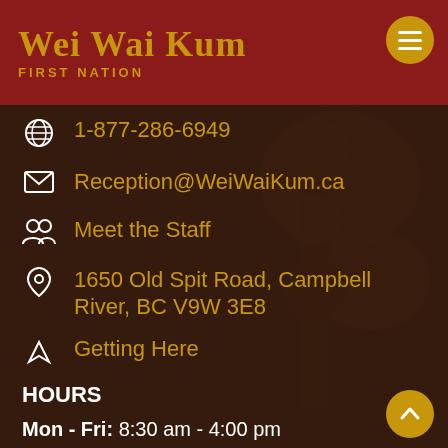Wei Wai Kum FIRST NATION
1-877-286-6949
Reception@WeiWaiKum.ca
Meet the Staff
1650 Old Spit Road, Campbell River, BC V9W 3E8
Getting Here
HOURS
Mon - Fri: 8:30 am - 4:00 pm
Sat – Sun: Closed